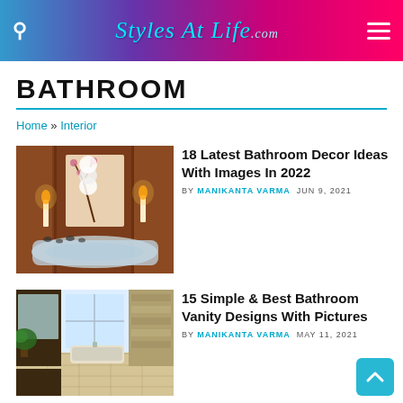Styles At Life .com
BATHROOM
Home » Interior
[Figure (photo): Luxury bathroom with warm wood paneling, candles, spa bathtub with bubbles and decorative stones]
18 Latest Bathroom Decor Ideas With Images In 2022
BY MANIKANTA VARMA  JUN 9, 2021
[Figure (photo): Modern bathroom with vanity, large mirror, bathtub, and tiled floor in neutral tones]
15 Simple & Best Bathroom Vanity Designs With Pictures
BY MANIKANTA VARMA  MAY 11, 2021